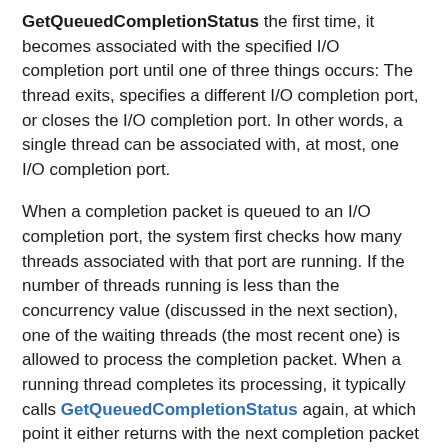GetQueuedCompletionStatus the first time, it becomes associated with the specified I/O completion port until one of three things occurs: The thread exits, specifies a different I/O completion port, or closes the I/O completion port. In other words, a single thread can be associated with, at most, one I/O completion port.
When a completion packet is queued to an I/O completion port, the system first checks how many threads associated with that port are running. If the number of threads running is less than the concurrency value (discussed in the next section), one of the waiting threads (the most recent one) is allowed to process the completion packet. When a running thread completes its processing, it typically calls GetQueuedCompletionStatus again, at which point it either returns with the next completion packet or waits if the queue is empty.
Threads can use the PostQueuedCompletionStatus